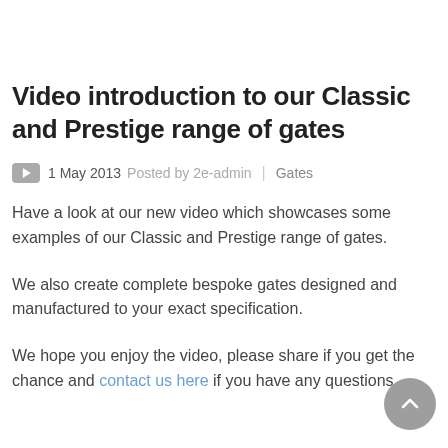Video introduction to our Classic and Prestige range of gates
1 May 2013 Posted by 2e-admin | Gates
Have a look at our new video which showcases some examples of our Classic and Prestige range of gates.
We also create complete bespoke gates designed and manufactured to your exact specification.
We hope you enjoy the video, please share if you get the chance and contact us here if you have any questions.